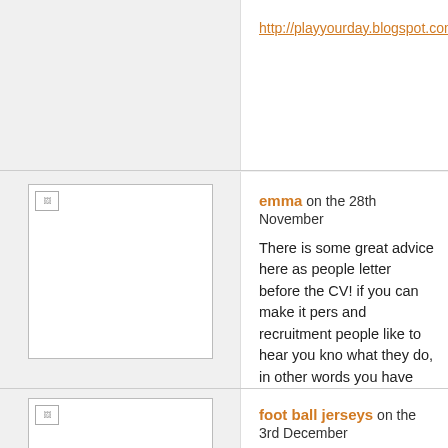http://playyourday.blogspot.com/p/job-interv
[Figure (photo): Broken image thumbnail placeholder for user avatar (emma)]
emma on the 28th November
There is some great advice here as people letter before the CV! if you can make it pers and recruitment people like to hear you kno what they do, in other words you have put t definitely help you seem like a person they than just another applicant.
[Figure (photo): Broken image thumbnail placeholder for user avatar (foot ball jerseys)]
foot ball jerseys on the 3rd December
This is great post. Thanks for sharing